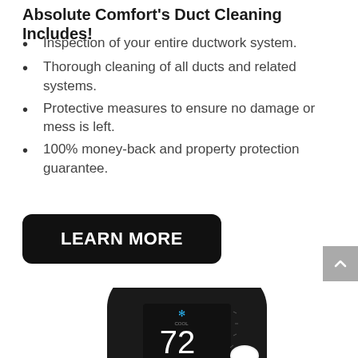Absolute Comfort's Duct Cleaning Includes!
Inspection of your entire ductwork system.
Thorough cleaning of all ducts and related systems.
Protective measures to ensure no damage or mess is left.
100% money-back and property protection guarantee.
LEARN MORE
[Figure (photo): Smart thermostat (ecobee style) with round black device showing temperature 72 and a small white sensor accessory, partially visible at bottom of page]